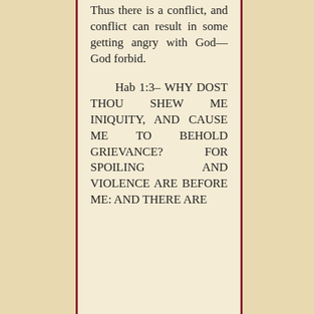Thus there is a conflict, and conflict can result in some getting angry with God—God forbid.
Hab 1:3– WHY DOST THOU SHEW ME INIQUITY, AND CAUSE ME TO BEHOLD GRIEVANCE? FOR SPOILING AND VIOLENCE ARE BEFORE ME: AND THERE ARE